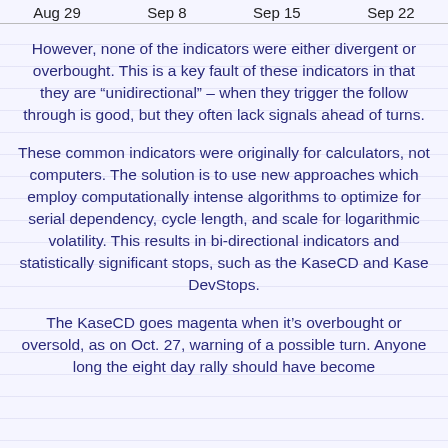Aug 29   Sep 8   Sep 15   Sep 22
However, none of the indicators were either divergent or overbought. This is a key fault of these indicators in that they are “unidirectional” – when they trigger the follow through is good, but they often lack signals ahead of turns.
These common indicators were originally for calculators, not computers. The solution is to use new approaches which employ computationally intense algorithms to optimize for serial dependency, cycle length, and scale for logarithmic volatility. This results in bi-directional indicators and statistically significant stops, such as the KaseCD and Kase DevStops.
The KaseCD goes magenta when it’s overbought or oversold, as on Oct. 27, warning of a possible turn. Anyone long the eight day rally should have become